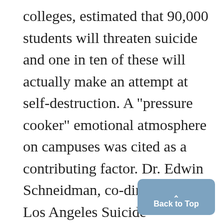colleges, estimated that 90,000 students will threaten suicide and one in ten of these will actually make an attempt at self-destruction. A "pressure cooker" emotional atmosphere on campuses was cited as a contributing factor. Dr. Edwin Schneidman, co-director of the Los Angeles Suicide Prevention Center, said he believed the figure of 1000 actual suicides to be conservative. Schneidman, also a consultant for